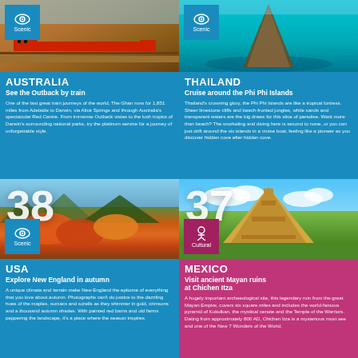[Figure (photo): Train in Australian Outback landscape]
AUSTRALIA
See the Outback by train
One of the last great train journeys of the world, The Ghan runs for 1,851 miles from Adelaide to Darwin, via Alice Springs and through Australia's spectacular Red Centre. From immense Outback vistas to the lush tropics of Darwin's surrounding national parks, try the platinum service for a journey of unforgettable style.
[Figure (photo): Boat on turquoise Phi Phi Islands water]
THAILAND
Cruise around the Phi Phi Islands
Thailand's crowning glory, the Phi Phi Islands are like a tropical fortress. Sheer limestone cliffs and beach-fronted jungles, white sands and transparent waters are the big draws for this slice of paradise. Want more than beach? The snorkeling and diving here is second to none, or you can just drift around the six islands in a cruise boat, feeling like a pioneer as you discover hidden cove after hidden cove.
[Figure (photo): New England autumn foliage landscape with number 38]
USA
Explore New England in autumn
A unique climate and terrain make New England the epitome of everything that you love about autumn. Photographs can't do justice to the dazzling hues of the maples, sumacs and sorells as they shimmer in gold, crimsons and a thousand autumn shades. With painted red barns and old farms peppering the landscape, it's a place where the season inspires.
[Figure (photo): Chichen Itza Mayan pyramid with number 37]
MEXICO
Visit ancient Mayan ruins at Chichen Itza
A hugely important archaeological site, this legendary ruin from the great Mayan Empire, covers six square miles and includes the world-famous pyramid of Kukulkan, the mystical cenote and the Temple of the Warriors. Dating from approximately 800 AD, Chichen Itza is a mysterious must see and one of the New 7 Wonders of the World.